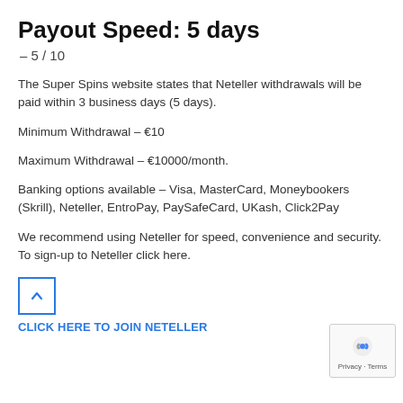Payout Speed: 5 days
– 5 / 10
The Super Spins website states that Neteller withdrawals will be paid within 3 business days (5 days).
Minimum Withdrawal – €10
Maximum Withdrawal – €10000/month.
Banking options available – Visa, MasterCard, Moneybookers (Skrill), Neteller, EntroPay, PaySafeCard, UKash, Click2Pay
We recommend using Neteller for speed, convenience and security. To sign-up to Neteller click here.
CLICK HERE TO JOIN NETELLER